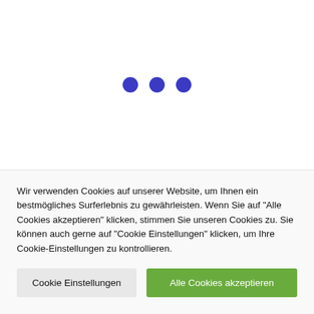[Figure (other): Three blue dots (loading indicator) centered in the upper white section of the page]
Wir verwenden Cookies auf unserer Website, um Ihnen ein bestmögliches Surferlebnis zu gewährleisten. Wenn Sie auf "Alle Cookies akzeptieren" klicken, stimmen Sie unseren Cookies zu. Sie können auch gerne auf "Cookie Einstellungen" klicken, um Ihre Cookie-Einstellungen zu kontrollieren.
Cookie Einstellungen
Alle Cookies akzeptieren